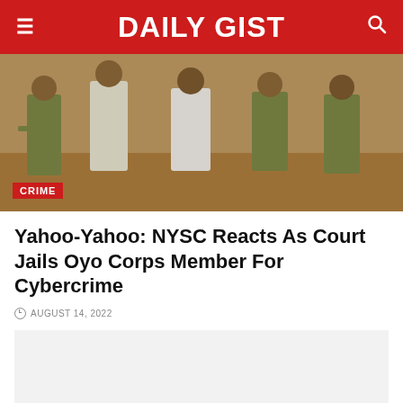DAILY GIST
[Figure (photo): People in olive/khaki uniforms (NYSC corps members) walking outdoors on sandy ground. A 'CRIME' badge overlays the bottom-left corner.]
Yahoo-Yahoo: NYSC Reacts As Court Jails Oyo Corps Member For Cybercrime
AUGUST 14, 2022